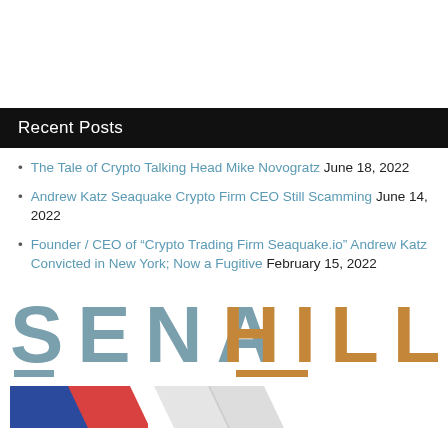Recent Posts
The Tale of Crypto Talking Head Mike Novogratz June 18, 2022
Andrew Katz Seaquake Crypto Firm CEO Still Scamming June 14, 2022
Founder / CEO of “Crypto Trading Firm Seaquake.io” Andrew Katz Convicted in New York; Now a Fugitive February 15, 2022
[Figure (logo): SENAHILL logo with SENA in steel blue and HILL in amber/brown, with decorative underlines below S and H]
[Figure (logo): Partial bottom logo with colored chevron/arrow shapes, partially cropped]